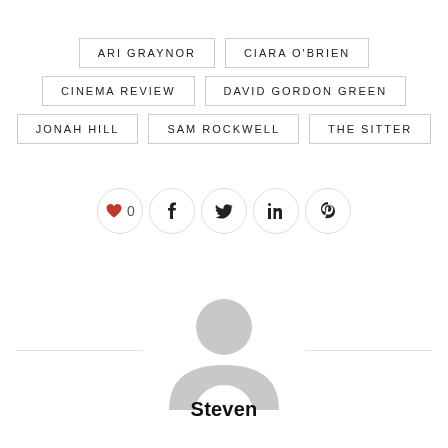ARI GRAYNOR
CIARA O'BRIEN
CINEMA REVIEW
DAVID GORDON GREEN
JONAH HILL
SAM ROCKWELL
THE SITTER
[Figure (infographic): Social sharing buttons row: heart/like button showing 0 likes, Facebook, Twitter, LinkedIn, Pinterest icons in circular bordered buttons]
[Figure (illustration): Generic user avatar placeholder — grey silhouette of a person (head and shoulders) on white background, with a horizontal divider line running through it]
Steven